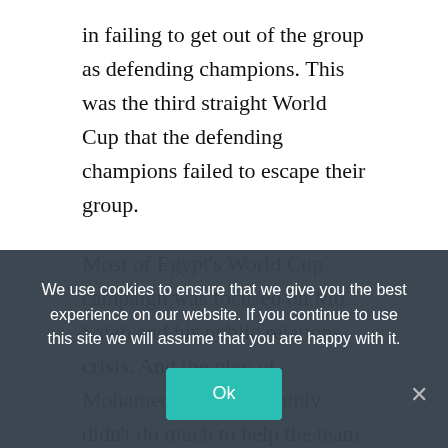in failing to get out of the group as defending champions. This was the third straight World Cup that the defending champions failed to escape their group.
Most of Egypt's World Cup campaign was focused on Mo Salah and his public relations crisis. And the play of Mohamed Elneny certainly didn't do much to help the team. He didn't create much of value for Egypt, and was a part of a team that lost all three of their matches in Russia. Alex Iwobi of Nigeria and Joel Campbell of Costa Rica both recorded one positive [continued below overlay]
We use cookies to ensure that we give you the best experience on our website. If you continue to use this site we will assume that you are happy with it.